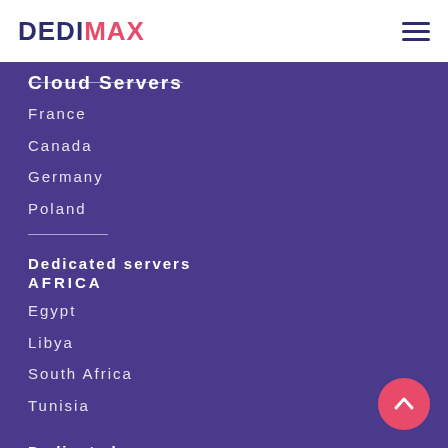DEDIMAX
Cloud Servers
France
Canada
Germany
Poland
Dedicated servers AFRICA
Egypt
Libya
South Africa
Tunisia
Dedicated servers AMERICA
Argentina
Brazil